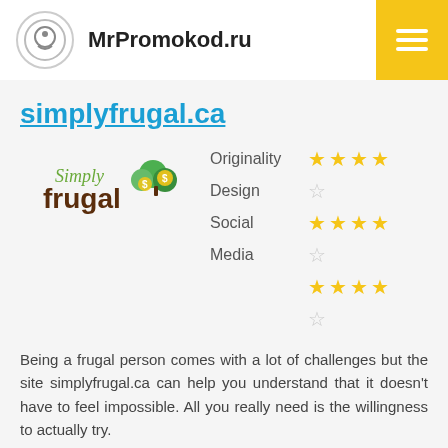MrPromokod.ru
simplyfrugal.ca
[Figure (logo): Simply Frugal logo with stylized text and green tree/dollar coin icons]
| Category | Rating |
| --- | --- |
| Originality | ★★★★ |
| Design | ☆ |
| Social | ★★★★ |
| Media | ☆ |
|  | ★★★★ |
|  | ☆ |
Being a frugal person comes with a lot of challenges but the site simplyfrugal.ca can help you understand that it doesn't have to feel impossible. All you really need is the willingness to actually try.